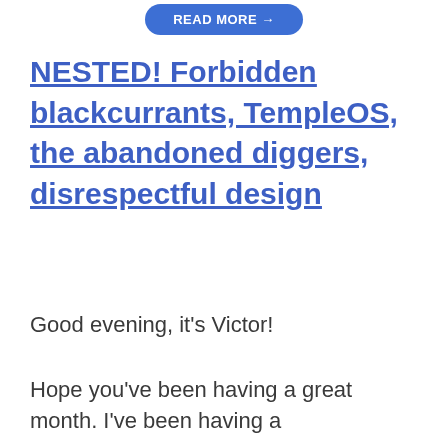[Figure (other): Blue rounded button partially visible at top center of page, with white bold text (partially cut off, appears to say 'READ MORE' or similar)]
NESTED! Forbidden blackcurrants, TempleOS, the abandoned diggers, disrespectful design
Good evening, it's Victor!
Hope you've been having a great month. I've been having a